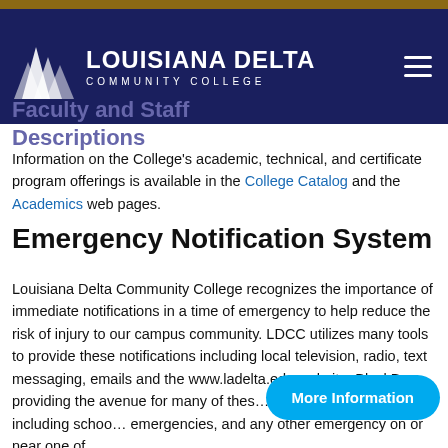Louisiana Delta Community College
Faculty and Staff Descriptions
Information on the College's academic, technical, and certificate program offerings is available in the College Catalog and the Academics web pages.
Emergency Notification System
Louisiana Delta Community College recognizes the importance of immediate notifications in a time of emergency to help reduce the risk of injury to our campus community. LDCC utilizes many tools to provide these notifications including local television, radio, text messaging, emails and the www.ladelta.edu website. BlackBo… providing the avenue for many of these… as other early warnings including schoo… emergencies, and any other emergency on or near one of